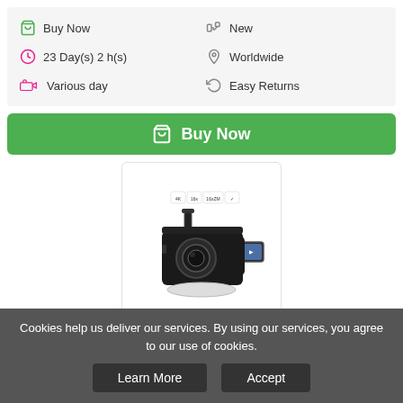Buy Now
23 Day(s) 2 h(s)
Various day
New
Worldwide
Easy Returns
Buy Now
[Figure (photo): Black 4K HD digital video camera with external microphone and flip screen, shown on a white base]
16X Zoom Digital Video Camera 4K HD ...
$43.99
Cookies help us deliver our services. By using our services, you agree to our use of cookies.
Learn More  Accept